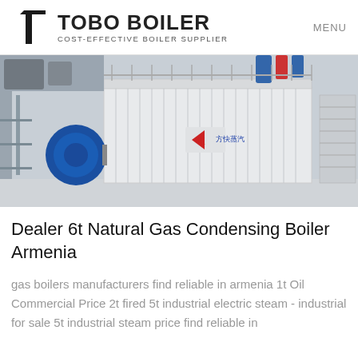TOBO BOILER COST-EFFECTIVE BOILER SUPPLIER | MENU
[Figure (photo): Industrial natural gas condensing boiler in a facility, showing large white rectangular boiler unit with blue motor/burner, metal scaffolding, pipes, and stairs in background. Chinese characters and red logo visible on the boiler casing.]
Dealer 6t Natural Gas Condensing Boiler Armenia
gas boilers manufacturers find reliable in armenia 1t Oil Commercial Price 2t fired 5t industrial electric steam - industrial for sale 5t industrial steam price find reliable in